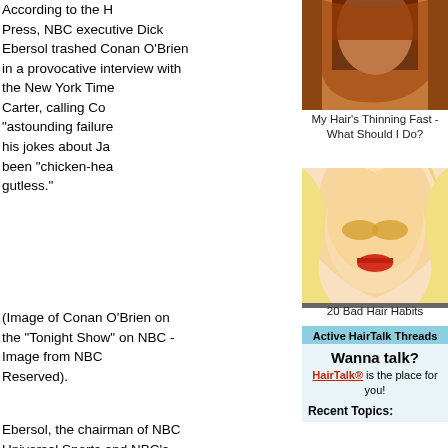According to the Huffington Press, NBC executive Dick Ebersol trashed Conan O'Brien in a provocative interview with the New York Times Bill Carter, calling Conan an "astounding failure" and said his jokes about Jay have been "chicken-hearted" and gutless.
[Figure (photo): Photo of a woman with long red/auburn hair (partially visible)]
My Hair's Thinning Fast - What Should I Do?
[Figure (photo): Photo of a brunette woman]
Crying For Your Hair
[Figure (photo): Photo of a blonde woman with dramatic eye makeup]
20 Bad Hair Habits
[Figure (photo): Photo of a woman with blonde updo at ACM Awards]
Why Hair Extensions Are Bad For You
(Image of Conan O'Brien on the "Tonight Show" on NBC - Image from NBC All Rights Reserved).
Ebersol, the chairman of NBC Universal Sports and NBC's
Active HairTalk Threads
Wanna talk?
HairTalk® is the place for you!
Recent Topics: